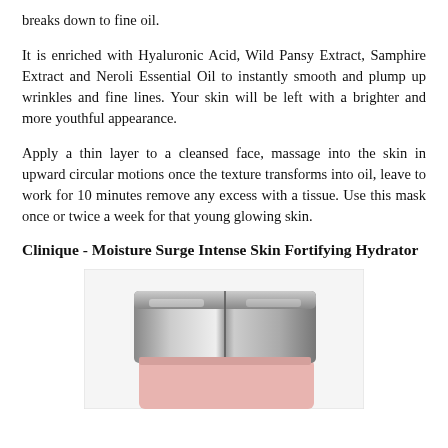breaks down to fine oil.
It is enriched with Hyaluronic Acid, Wild Pansy Extract, Samphire Extract and Neroli Essential Oil to instantly smooth and plump up wrinkles and fine lines. Your skin will be left with a brighter and more youthful appearance.
Apply a thin layer to a cleansed face, massage into the skin in upward circular motions once the texture transforms into oil, leave to work for 10 minutes remove any excess with a tissue. Use this mask once or twice a week for that young glowing skin.
Clinique - Moisture Surge Intense Skin Fortifying Hydrator
[Figure (photo): Photo of a Clinique Moisture Surge Intense Skin Fortifying Hydrator cream jar with a silver/metallic lid, showing a pink/cream colored base, partially cropped at the bottom of the page.]